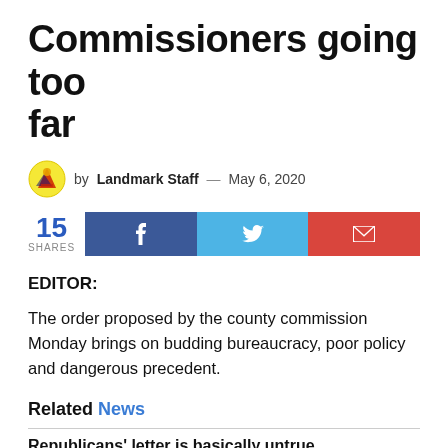Commissioners going too far
by Landmark Staff — May 6, 2020
15 SHARES
EDITOR:
The order proposed by the county commission Monday brings on budding bureaucracy, poor policy and dangerous precedent.
Related News
Republicans' letter is basically untrue